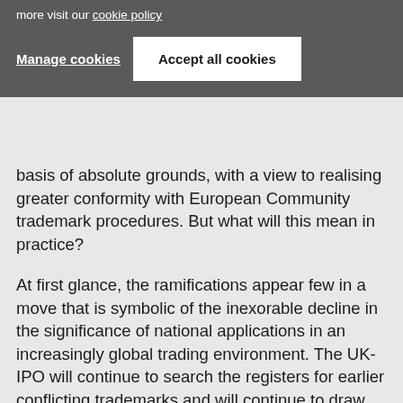more visit our cookie policy
Manage cookies
Accept all cookies
basis of absolute grounds, with a view to realising greater conformity with European Community trademark procedures. But what will this mean in practice?
At first glance, the ramifications appear few in a move that is symbolic of the inexorable decline in the significance of national applications in an increasingly global trading environment. The UK-IPO will continue to search the registers for earlier conflicting trademarks and will continue to draw applicants' attention to any marks that it finds. It will, however, no longer refuse applications on the basis of those citations,